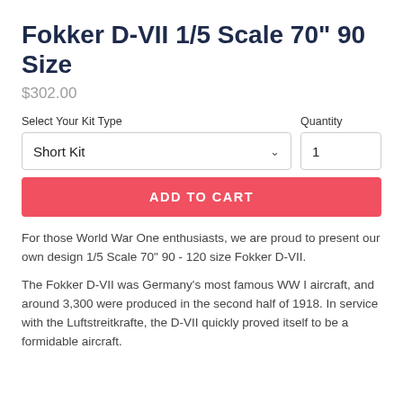Fokker D-VII 1/5 Scale 70" 90 Size
$302.00
Select Your Kit Type | Quantity | Short Kit | 1
ADD TO CART
For those World War One enthusiasts, we are proud to present our own design 1/5 Scale 70" 90 - 120 size Fokker D-VII.
The Fokker D-VII was Germany's most famous WW I aircraft, and around 3,300 were produced in the second half of 1918. In service with the Luftstreitkrafte, the D-VII quickly proved itself to be a formidable aircraft.